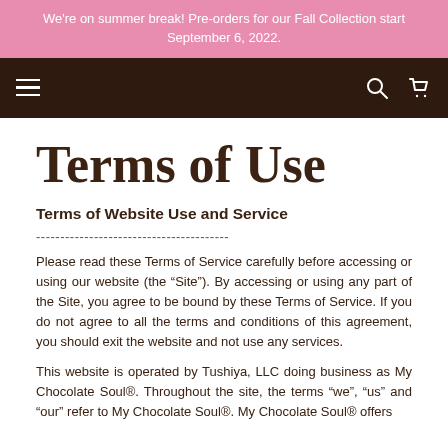We're on summer break! Pre-orders for our Fall Collection start September 6, 2022.
Terms of Use
Terms of Website Use and Service
----------------------------------------
Please read these Terms of Service carefully before accessing or using our website (the “Site”). By accessing or using any part of the Site, you agree to be bound by these Terms of Service. If you do not agree to all the terms and conditions of this agreement, you should exit the website and not use any services.
This website is operated by Tushiya, LLC doing business as My Chocolate Soul®. Throughout the site, the terms “we”, “us” and “our” refer to My Chocolate Soul®. My Chocolate Soul® offers